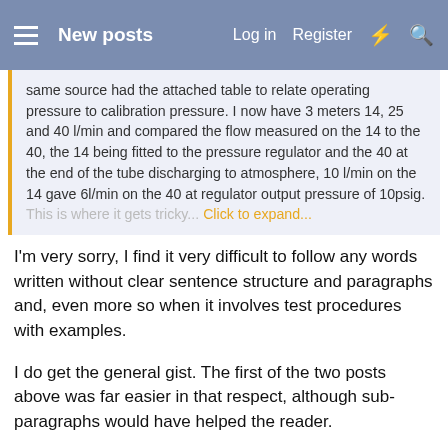New posts  Log in  Register
same source had the attached table to relate operating pressure to calibration pressure. I now have 3 meters 14, 25 and 40 l/min and compared the flow measured on the 14 to the 40, the 14 being fitted to the pressure regulator and the 40 at the end of the tube discharging to atmosphere, 10 l/min on the 14 gave 6l/min on the 40 at regulator output pressure of 10psig. This is where it gets tricky... Click to expand...
I'm very sorry, I find it very difficult to follow any words written without clear sentence structure and paragraphs and, even more so when it involves test procedures with examples.
I do get the general gist. The first of the two posts above was far easier in that respect, although sub-paragraphs would have helped the reader.
I looked at the chart, it is interesting, in that it incorporates back pressure into the equation.
I have to say, dont' actually know what a rotameter is.